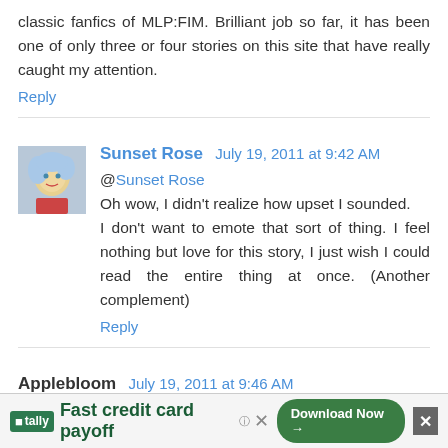classic fanfics of MLP:FIM. Brilliant job so far, it has been one of only three or four stories on this site that have really caught my attention.
Reply
Sunset Rose  July 19, 2011 at 9:42 AM
@Sunset Rose
Oh wow, I didn't realize how upset I sounded.
I don't want to emote that sort of thing. I feel nothing but love for this story, I just wish I could read the entire thing at once. (Another complement)
Reply
Applebloom  July 19, 2011 at 9:46 AM
Now ah'm not even a fanfic reader but damn if the description and picture didn't prompt me to print it out for later x3
Reply
[Figure (infographic): Tally advertisement banner: Fast credit card payoff, Download Now button, close buttons]